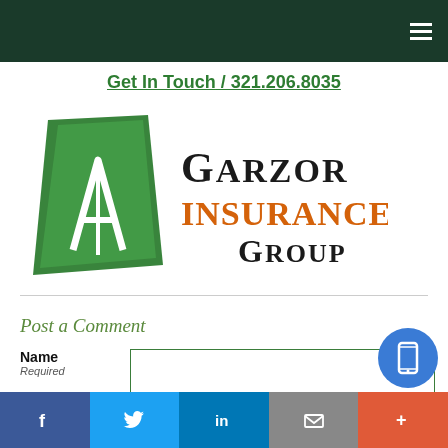Navigation menu (hamburger icon)
Get In Touch / 321.206.8035
[Figure (logo): Garzor Insurance Group logo with green diamond shape and company name in black and orange text]
Post a Comment
Name
Required
E-Mail
Required
(N...
D...
[Figure (other): Accessibility icon (partial)]
[Figure (other): Floating blue mobile button]
Facebook | Twitter | LinkedIn | Email | More